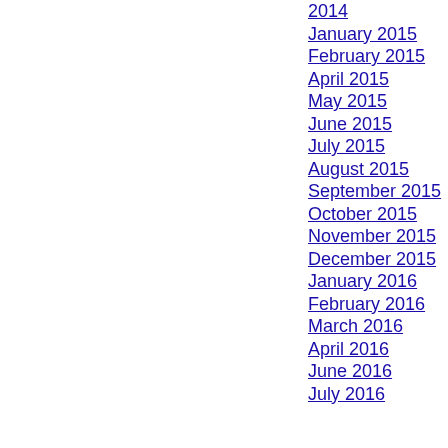2014
January 2015
February 2015
April 2015
May 2015
June 2015
July 2015
August 2015
September 2015
October 2015
November 2015
December 2015
January 2016
February 2016
March 2016
April 2016
June 2016
July 2016